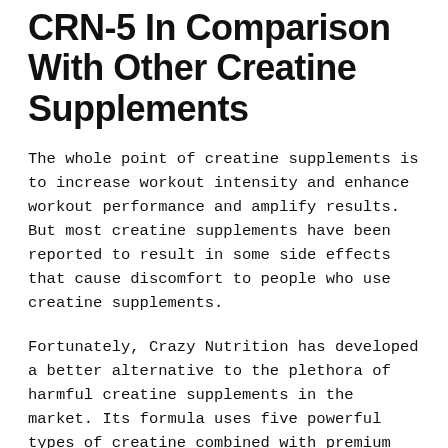CRN-5 In Comparison With Other Creatine Supplements
The whole point of creatine supplements is to increase workout intensity and enhance workout performance and amplify results. But most creatine supplements have been reported to result in some side effects that cause discomfort to people who use creatine supplements.
Fortunately, Crazy Nutrition has developed a better alternative to the plethora of harmful creatine supplements in the market. Its formula uses five powerful types of creatine combined with premium electrolytes as well as minerals to give your body the